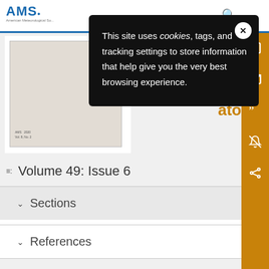[Figure (screenshot): AMS (American Meteorological Society) website header with blue logo and search icon]
[Figure (screenshot): Cookie consent popup overlay with black background. Text reads: This site uses cookies, tags, and tracking settings to store information that help give you the very best browsing experience. With an X close button.]
This site uses cookies, tags, and tracking settings to store information that help give you the very best browsing experience.
[Figure (screenshot): Book/journal cover thumbnail in light beige/gray]
Volume 49: Issue 6
Sections
References